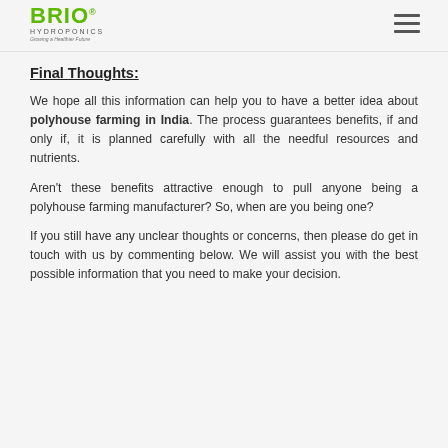BRIO HYDROPONICS — Growing a Healthier Future
Final Thoughts:
We hope all this information can help you to have a better idea about polyhouse farming in India. The process guarantees benefits, if and only if, it is planned carefully with all the needful resources and nutrients.
Aren't these benefits attractive enough to pull anyone being a polyhouse farming manufacturer? So, when are you being one?
If you still have any unclear thoughts or concerns, then please do get in touch with us by commenting below. We will assist you with the best possible information that you need to make your decision.